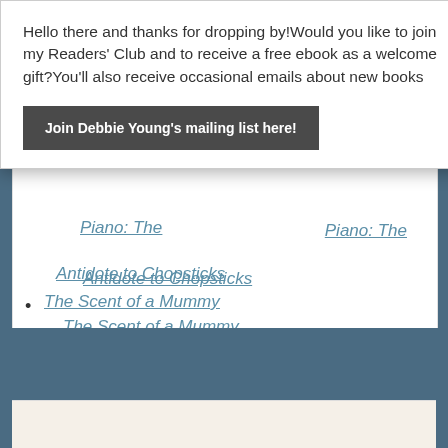Hello there and thanks for dropping by!Would you like to join my Readers' Club and to receive a free ebook as a welcome gift?You'll also receive occasional emails about new books
Join Debbie Young's mailing list here!
Piano: The Antidote to Chopsticks
The Scent of a Mummy
[Figure (other): Bottom section showing a blue background and the top edge of a cream/beige content card with an image partially visible]